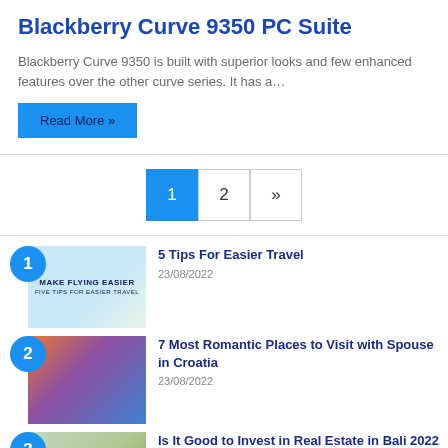Blackberry Curve 9350 PC Suite
Blackberry Curve 9350 is built with superior looks and few enhanced features over the other curve series. It has a…
Read More »
1  2  »
1. 5 Tips For Easier Travel — 23/08/2022
2. 7 Most Romantic Places to Visit with Spouse in Croatia — 23/08/2022
3. Is It Good to Invest in Real Estate in Bali 2022